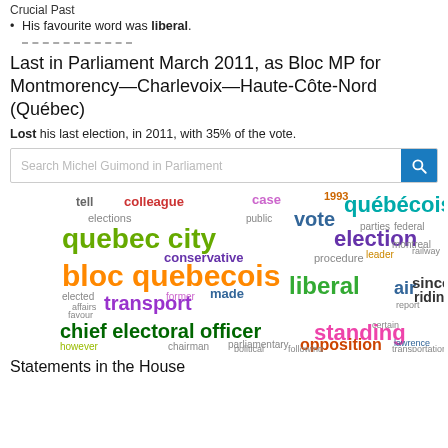Crucial Past
His favourite word was liberal.
Last in Parliament March 2011, as Bloc MP for Montmorency—Charlevoix—Haute-Côte-Nord (Québec)
Lost his last election, in 2011, with 35% of the vote.
[Figure (other): Search bar: 'Search Michel Guimond in Parliament' with blue search button]
[Figure (infographic): Word cloud featuring words like 'québécois', 'quebec city', 'bloc quebecois', 'liberal', 'election', 'transport', 'chief electoral officer', 'opposition', 'standing', 'air', 'since', 'riding', 'colleague', 'vote', 'conservative', 'made', 'former', 'elected', 'tell', 'elections', 'case', '1993', 'public', 'parties', 'federal', 'leader', 'railway', 'montreal', 'procedure', 'however', 'chairman', 'parliamentary', 'political', 'following', 'lawrence', 'transportation', 'certain', 'affairs', 'favour', 'report']
Statements in the House